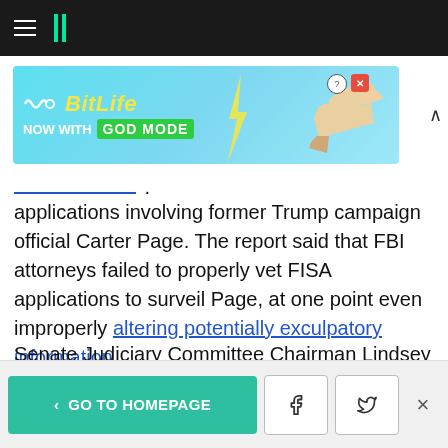HuffPost navigation header with hamburger menu and logo
[Figure (screenshot): BitLife advertisement banner - 'NOW WITH GOD MODE' with cartoon hand pointing]
applications involving former Trump campaign official Carter Page. The report said that FBI attorneys failed to properly vet FISA applications to surveil Page, at one point even improperly altering potentially exculpatory information.
Senate Judiciary Committee Chairman Lindsey Graham (R-S.C.), one of Trump's top allies on Capitol Hill, expressed alarm at the report.
< GO TO HOMEPAGE [Facebook] [Twitter] X